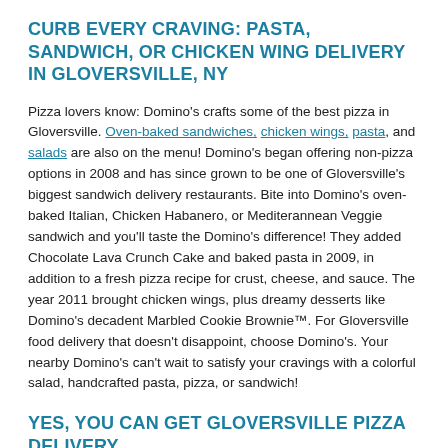CURB EVERY CRAVING: PASTA, SANDWICH, OR CHICKEN WING DELIVERY IN GLOVERSVILLE, NY
Pizza lovers know: Domino's crafts some of the best pizza in Gloversville. Oven-baked sandwiches, chicken wings, pasta, and salads are also on the menu! Domino's began offering non-pizza options in 2008 and has since grown to be one of Gloversville's biggest sandwich delivery restaurants. Bite into Domino's oven-baked Italian, Chicken Habanero, or Mediterannean Veggie sandwich and you'll taste the Domino's difference! They added Chocolate Lava Crunch Cake and baked pasta in 2009, in addition to a fresh pizza recipe for crust, cheese, and sauce. The year 2011 brought chicken wings, plus dreamy desserts like Domino's decadent Marbled Cookie Brownie™. For Gloversville food delivery that doesn't disappoint, choose Domino's. Your nearby Domino's can't wait to satisfy your cravings with a colorful salad, handcrafted pasta, pizza, or sandwich!
YES, YOU CAN GET GLOVERSVILLE PIZZA DELIVERY